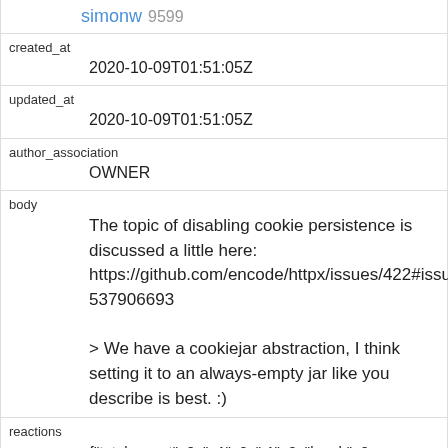simonw 9599
created_at
2020-10-09T01:51:05Z
updated_at
2020-10-09T01:51:05Z
author_association
OWNER
body
The topic of disabling cookie persistence is discussed a little here: https://github.com/encode/httpx/issues/422#issuecomment-537906693

> We have a cookiejar abstraction, I think setting it to an always-empty jar like you describe is best. :)
reactions
{"total_count": 0, "+1": 0, "-1": 0, "laugh": 0, "hooray": 0, "confused": 0, "heart": 0, "rocket": 0, "eyes": 0}
issue